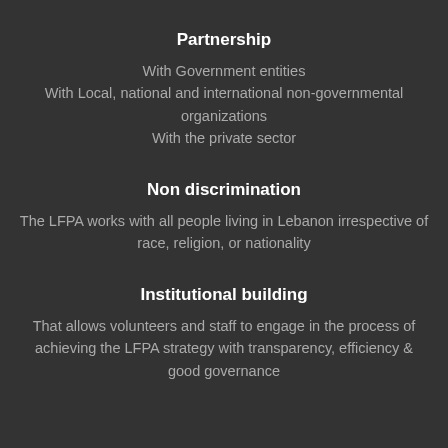Partnership
With Government entities
With Local, national and international non-governmental organizations
With the private sector
Non discrimination
The LFPA works with all people living in Lebanon irrespective of race, religion, or nationality
Institutional building
That allows volunteers and staff to engage in the process of achieving the LFPA strategy with transparency, efficiency & good governance